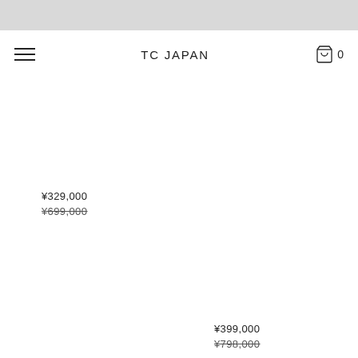TC JAPAN
¥329,000
¥699,000
¥399,000
¥798,000